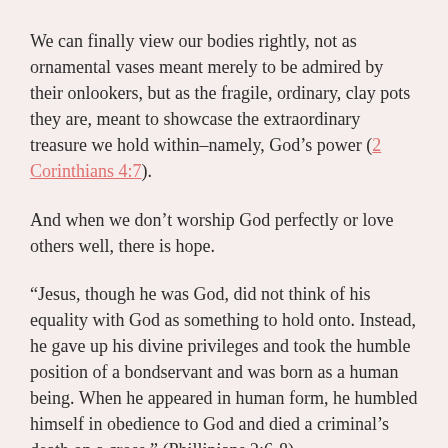We can finally view our bodies rightly, not as ornamental vases meant merely to be admired by their onlookers, but as the fragile, ordinary, clay pots they are, meant to showcase the extraordinary treasure we hold within–namely, God's power (2 Corinthians 4:7).
And when we don't worship God perfectly or love others well, there is hope.
“Jesus, though he was God, did not think of his equality with God as something to hold onto. Instead, he gave up his divine privileges and took the humble position of a bondservant and was born as a human being. When he appeared in human form, he humbled himself in obedience to God and died a criminal’s death on a cross.” (Phillipians 2:6-8)
Did you catch that? Jesus, God of the universe, did not come